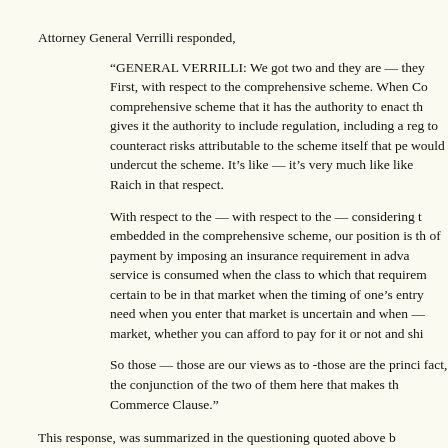Attorney General Verrilli responded,
“GENERAL VERRILLI: We got two and they are — they First, with respect to the comprehensive scheme. When Co comprehensive scheme that it has the authority to enact th gives it the authority to include regulation, including a reg to counteract risks attributable to the scheme itself that pe would undercut the scheme. It’s like — it’s very much like like Raich in that respect.

With respect to the — with respect to the — considering t embedded in the comprehensive scheme, our position is th of payment by imposing an insurance requirement in adva service is consumed when the class to which that requirem certain to be in that market when the timing of one’s entry need when you enter that market is uncertain and when — market, whether you can afford to pay for it or not and shi

So those — those are our views as to -those are the princi fact, the conjunction of the two of them here that makes th Commerce Clause.”
This response, was summarized in the questioning quoted above b